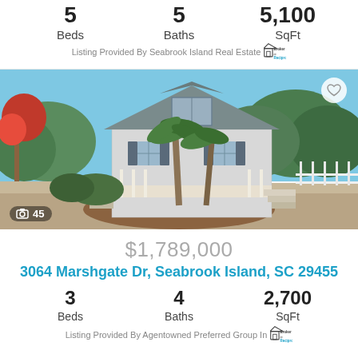5 Beds  5 Baths  5,100 SqFt
Listing Provided By Seabrook Island Real Estate [Broker Reciprocity]
[Figure (photo): Exterior photo of a coastal-style house with palm trees, white siding, gray shutters, wraparound porch and stairs, lush green trees, red flowering shrubs on the left. Photo counter shows 45 images.]
$1,789,000
3064 Marshgate Dr, Seabrook Island, SC 29455
3 Beds  4 Baths  2,700 SqFt
Listing Provided By Agentowned Preferred Group In [Broker Reciprocity]